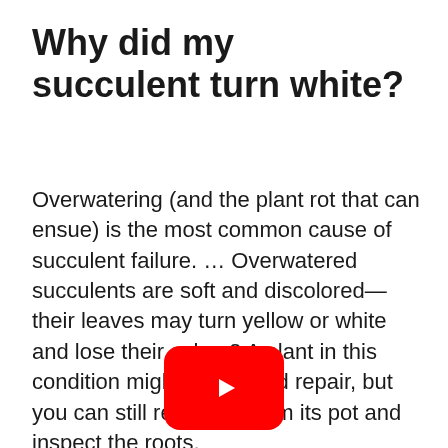Why did my succulent turn white?
Overwatering (and the plant rot that can ensue) is the most common cause of succulent failure. … Overwatered succulents are soft and discolored—their leaves may turn yellow or white and lose their color. 2 A plant in this condition might be beyond repair, but you can still remove it from its pot and inspect the roots.
[Figure (logo): YouTube play button logo — red rounded rectangle with white triangle play icon]